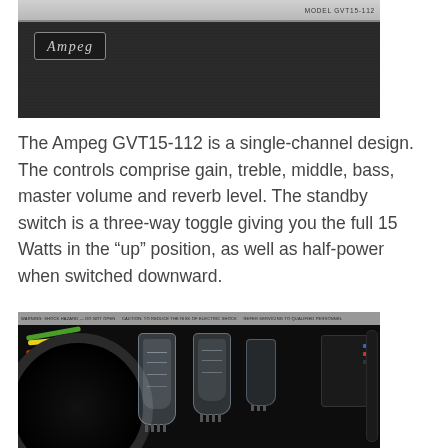[Figure (photo): Ampeg GVT15-112 amplifier front panel showing the black grille cloth with the Ampeg logo badge in silver/chrome on the left side, and a silver top bar with MODEL GVT15-112 text on the right.]
The Ampeg GVT15-112 is a single-channel design. The controls comprise gain, treble, middle, bass, master volume and reverb level. The standby switch is a three-way toggle giving you the full 15 Watts in the “up” position, as well as half-power when switched downward.
[Figure (photo): Interior view of the Ampeg GVT15-112 showing vacuum tubes (power and preamp tubes in clear glass enclosures), colorful wiring (green, yellow, red, orange), a large speaker, and the chassis interior.]